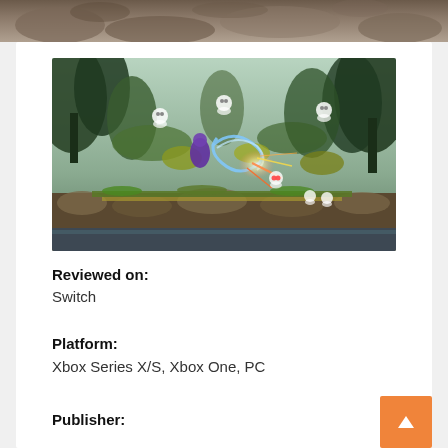[Figure (photo): Top strip showing rocky stone texture, partial image at top of page]
[Figure (screenshot): Video game screenshot showing a fantasy forest scene with a character fighting enemies, colorful combat effects, small ghost-like creatures visible, lush greenery and stone bridge environment]
Reviewed on:
Switch
Platform:
Xbox Series X/S, Xbox One, PC
Publisher: